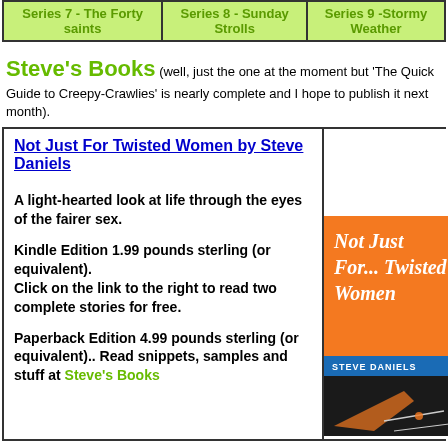| Series 7 - The Forty saints | Series 8 - Sunday Strolls | Series 9 -Stormy Weather |
| --- | --- | --- |
Steve's Books (well, just the one at the moment but 'The Quick Guide to Creepy-Crawlies' is nearly complete and I hope to publish it next month).
Not Just For Twisted Women by Steve Daniels

A light-hearted look at life through the eyes of the fairer sex.

Kindle Edition 1.99 pounds sterling (or equivalent).
Click on the link to the right to read two complete stories for free.

Paperback Edition 4.99 pounds sterling (or equivalent).. Read snippets, samples and stuff at Steve's Books
[Figure (illustration): Book cover of 'Not Just For... Twisted Women' by Steve Daniels - orange background with white text and a black section at the bottom with a blue author name strip]